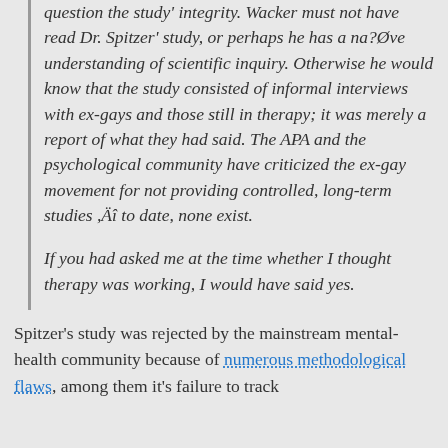question the study' integrity. Wacker must not have read Dr. Spitzer' study, or perhaps he has a na?Øve understanding of scientific inquiry. Otherwise he would know that the study consisted of informal interviews with ex-gays and those still in therapy; it was merely a report of what they had said. The APA and the psychological community have criticized the ex-gay movement for not providing controlled, long-term studies ,Äî to date, none exist.

If you had asked me at the time whether I thought therapy was working, I would have said yes.
Spitzer's study was rejected by the mainstream mental-health community because of numerous methodological flaws, among them it's failure to track